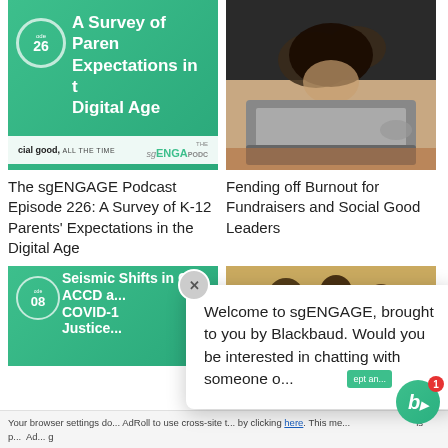[Figure (screenshot): Green podcast thumbnail for sgENGAGE Episode 226: A Survey of Parents' Expectations in the Digital Age, with episode badge and sgENGAGE podcast logo footer]
[Figure (photo): Photo of a woman with head in hands, stressed, in front of a laptop computer]
The sgENGAGE Podcast Episode 226: A Survey of K-12 Parents' Expectations in the Digital Age
Fending off Burnout for Fundraisers and Social Good Leaders
[Figure (screenshot): Green podcast thumbnail for Episode 308: Seismic Shifts in ACCD, COVID-19, and Justice]
[Figure (photo): Photo of students/people in a classroom or meeting setting]
Welcome to sgENGAGE, brought to you by Blackbaud. Would you be interested in chatting with someone o...
Your browser settings do not allow AdRoll to use cross-site t... by clicking here. This me... ept an... is p... Ad... g